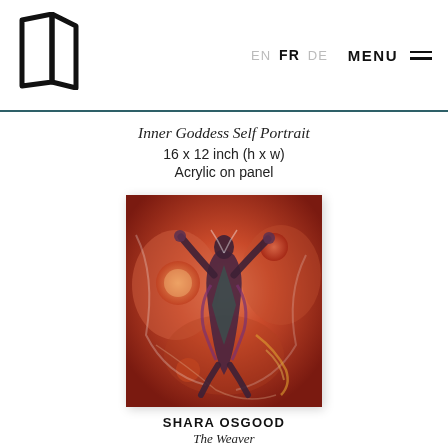EN  FR  DE  MENU
Inner Goddess Self Portrait
16 x 12 inch (h x w)
Acrylic on panel
[Figure (illustration): A colorful acrylic painting of an abstract female figure with arms raised, surrounded by swirling patterns of red, orange, purple, and teal tones, with circular orb motifs.]
SHARA OSGOOD
The Weaver
24 x 36 inch (h x w)